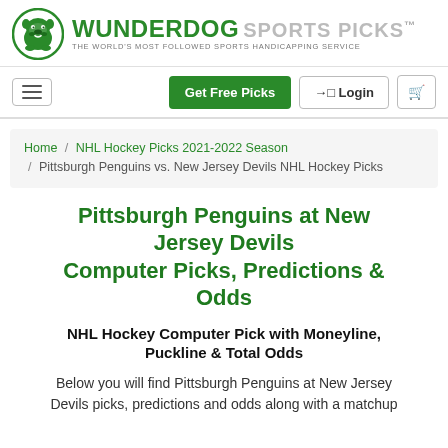[Figure (logo): Wunderdog Sports Picks logo with bulldog mascot icon and text]
Get Free Picks | Login | Cart navigation bar
Home / NHL Hockey Picks 2021-2022 Season / Pittsburgh Penguins vs. New Jersey Devils NHL Hockey Picks
Pittsburgh Penguins at New Jersey Devils Computer Picks, Predictions & Odds
NHL Hockey Computer Pick with Moneyline, Puckline & Total Odds
Below you will find Pittsburgh Penguins at New Jersey Devils picks, predictions and odds along with a matchup